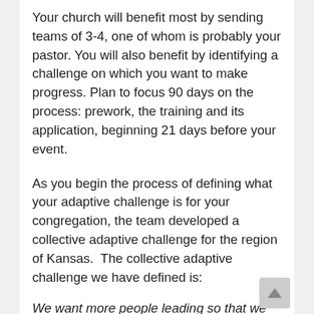Your church will benefit most by sending teams of 3-4, one of whom is probably your pastor. You will also benefit by identifying a challenge on which you want to make progress. Plan to focus 90 days on the process: prework, the training and its application, beginning 21 days before your event.
As you begin the process of defining what your adaptive challenge is for your congregation, the team developed a collective adaptive challenge for the region of Kansas.  The collective adaptive challenge we have defined is:
We want more people leading so that we